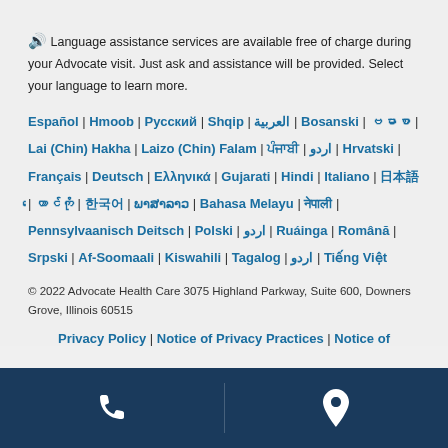🔊 Language assistance services are available free of charge during your Advocate visit. Just ask and assistance will be provided. Select your language to learn more.
Español | Hmoob | Русский | Shqip | العربية | Bosanski | ဗမာစာ | Lai (Chin) Hakha | Laizo (Chin) Falam | ਪੰਜਾਬੀ | اردو | Hrvatski | Français | Deutsch | Ελληνικά | Gujarati | Hindi | Italiano | 日本語 | တောင်ကို | 한국어 | ພາສາລາວ | Bahasa Melayu | नेपाली | Pennsylvaanisch Deitsch | Polski | Tagalog | Ruáinga | Română | Srpski | Af-Soomaali | Kiswahili | Tagalog | اردو | Tiếng Việt
© 2022 Advocate Health Care 3075 Highland Parkway, Suite 600, Downers Grove, Illinois 60515
Privacy Policy | Notice of Privacy Practices | Notice of